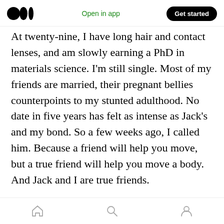Medium logo | Open in app | Get started
At twenty-nine, I have long hair and contact lenses, and am slowly earning a PhD in materials science. I'm still single. Most of my friends are married, their pregnant bellies counterpoints to my stunted adulthood. No date in five years has felt as intense as Jack's and my bond. So a few weeks ago, I called him. Because a friend will help you move, but a true friend will help you move a body. And Jack and I are true friends.
In my doorway, he's balder and thicker than I remember, a fortyish military retiree still living with his wife and son. I let him stash his
Home | Search | Profile